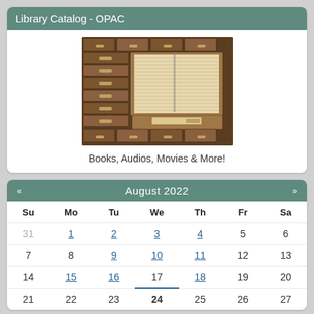Library Catalog - OPAC
[Figure (photo): Photo of a wooden library card catalog cabinet with an open drawer full of index cards]
Books, Audios, Movies & More!
| « | August 2022 | » |
| --- | --- | --- |
| Su | Mo | Tu | We | Th | Fr | Sa |
| 31 | 1 | 2 | 3 | 4 | 5 | 6 |
| 7 | 8 | 9 | 10 | 11 | 12 | 13 |
| 14 | 15 | 16 | 17 | 18 | 19 | 20 |
| 21 | 22 | 23 | 24 | 25 | 26 | 27 |